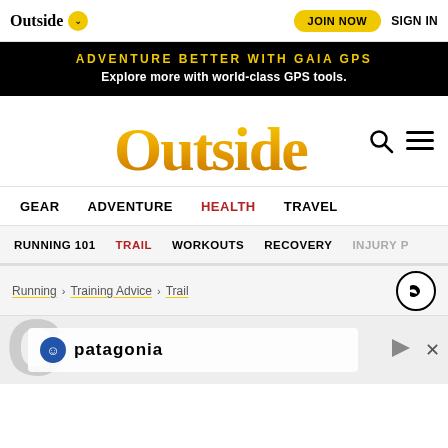Outside | JOIN NOW | SIGN IN
[Figure (screenshot): Black banner ad: ADVENTURE BETTER WITH GAIA GPS / Explore more with world-class GPS tools.]
[Figure (logo): Outside magazine logo in gold/orange gradient serif font, with search and hamburger menu icons]
GEAR  ADVENTURE  HEALTH  TRAVEL
RUNNING 101  TRAIL  WORKOUTS  RECOVERY  INJURY P
Running > Training Advice > Trail
[Figure (screenshot): Patagonia advertisement banner showing a mountain biker on a rocky hilltop, with patagonia logo overlay and close button]